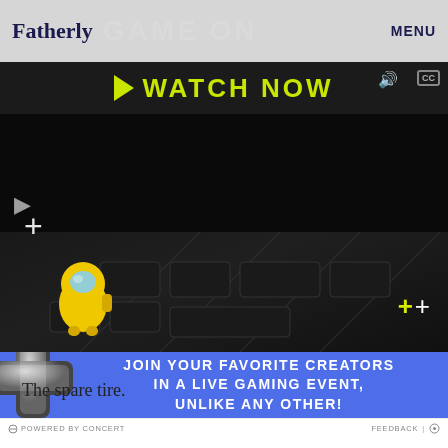Fatherly GAME ON MENU
[Figure (screenshot): Video player showing a dark background with a yellow Among Us character, keyboard visible, watch now banner at top, play and control icons, plus signs]
[Figure (infographic): Blue banner ad: JOIN YOUR FAVORITE CREATORS IN A LIVE GAMING EVENT, UNLIKE ANY OTHER! with a game controller cross icon on the left]
POWERED BY CONCERT | FEEDBACK | settings icon
The spare tire.